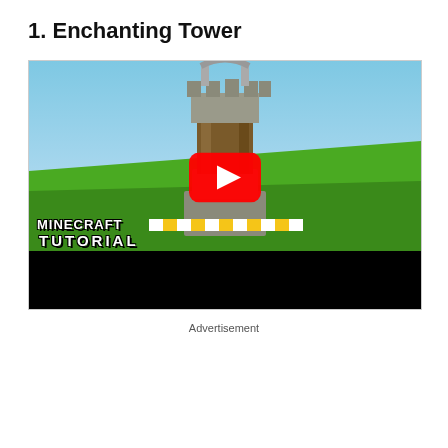1. Enchanting Tower
[Figure (screenshot): YouTube video thumbnail showing a Minecraft tutorial for an Enchanting Tower. The thumbnail features a tall stone and wood tower in a Minecraft landscape with green grass and blue sky. A large red YouTube play button is overlaid in the center. Text at the bottom reads 'MINECRAFT TUTORIAL' with Minecraft-style font. The bottom portion of the video player shows a black bar.]
Advertisement